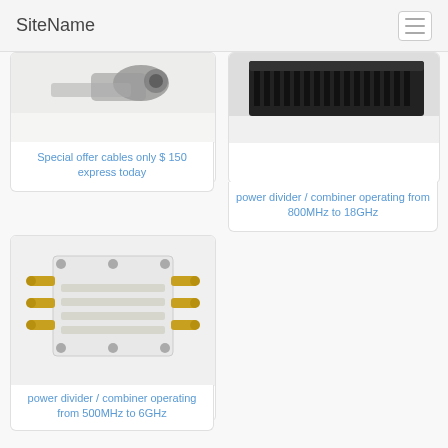SiteName
[Figure (photo): Cable connector product image (partially visible at top)]
Special offer cables only $ 150 express today
[Figure (photo): Power divider/combiner product image with black connectors (partially visible at top)]
power divider / combiner operating from 800MHz to 18GHz
[Figure (photo): Power divider/combiner product with gold SMA connectors on white/transparent housing]
power divider / combiner operating from 500MHz to 6GHz